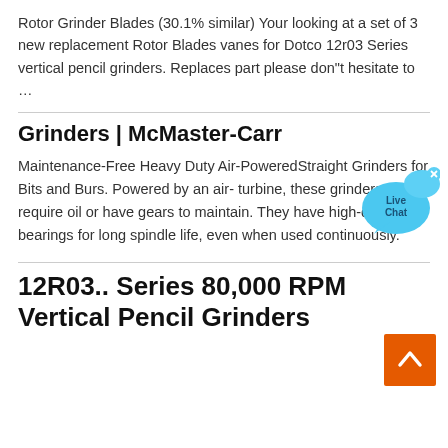Rotor Grinder Blades (30.1% similar) Your looking at a set of 3 new replacement Rotor Blades vanes for Dotco 12r03 Series vertical pencil grinders. Replaces part please don"t hesitate to …
Grinders | McMaster-Carr
[Figure (illustration): Live Chat speech bubble icon in blue with 'Live Chat' text and a small X close button]
Maintenance-Free Heavy Duty Air-PoweredStraight Grinders for Bits and Burs. Powered by an air- turbine, these grinders don"t require oil or have gears to maintain. They have high-quality bearings for long spindle life, even when used continuously.
12R03.. Series 80,000 RPM Vertical Pencil Grinders
[Figure (illustration): Orange back-to-top button with white upward chevron arrow]